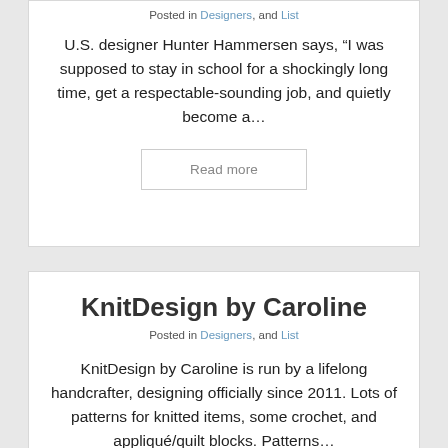Posted in Designers, and List
U.S. designer Hunter Hammersen says, “I was supposed to stay in school for a shockingly long time, get a respectable-sounding job, and quietly become a…
Read more
KnitDesign by Caroline
Posted in Designers, and List
KnitDesign by Caroline is run by a lifelong handcrafter, designing officially since 2011. Lots of patterns for knitted items, some crochet, and appliqué/quilt blocks. Patterns…